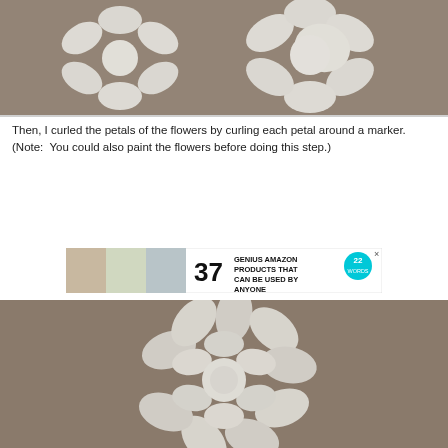[Figure (photo): Two white paper flower cutouts laid flat on a gray/tan surface, showing flower petal shapes cut from white paper]
Then, I curled the petals of the flowers by curling each petal around a marker.  (Note:  You could also paint the flowers before doing this step.)
[Figure (infographic): Advertisement banner: '37 GENIUS AMAZON PRODUCTS THAT CAN BE USED BY ANYONE' with 22 Words logo and small product photos]
[Figure (photo): A white paper flower with curled petals, assembled and photographed on a gray/tan surface, showing the 3D curled petal effect]